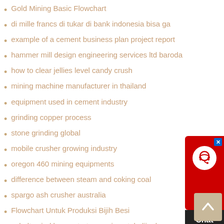Gold Mining Basic Flowchart
di mille francs di tukar di bank indonesia bisa ga
example of a cement business plan project report
hammer mill design engineering services ltd baroda
how to clear jellies level candy crush
mining machine manufacturer in thailand
equipment used in cement industry
grinding copper process
stone grinding global
mobile crusher growing industry
oregon 460 mining equipments
difference between steam and coking coal
spargo ash crusher australia
Flowchart Untuk Produksi Bijih Besi
cobalt spiral konsentrator mesin untuk dijual
fluid bed granulation process
trituradora de impacto 700 ton h
parts for crushers germany
flowsheet quality grinding mill
beryllium mining wellman
[Figure (other): Chat Now support widget with red background and headset icon]
[Figure (other): Scroll to top button with upward arrow on tan/beige background]